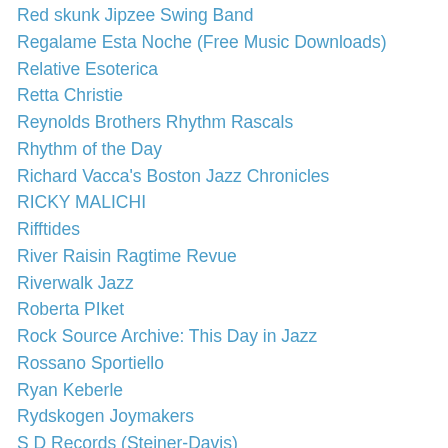Red skunk Jipzee Swing Band
Regalame Esta Noche (Free Music Downloads)
Relative Esoterica
Retta Christie
Reynolds Brothers Rhythm Rascals
Rhythm of the Day
Richard Vacca's Boston Jazz Chronicles
RICKY MALICHI
Rifftides
River Raisin Ragtime Revue
Riverwalk Jazz
Roberta PIket
Rock Source Archive: This Day in Jazz
Rossano Sportiello
Ryan Keberle
Rydskogen Joymakers
S D Records (Steiner-Davis)
Sacramento Likes
Sacramento Traditional Jazz Society (STJS)
Salt City Five and Six